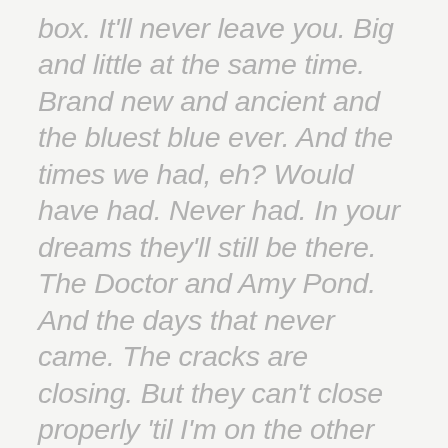box. It'll never leave you. Big and little at the same time. Brand new and ancient and the bluest blue ever. And the times we had, eh? Would have had. Never had. In your dreams they'll still be there. The Doctor and Amy Pond. And the days that never came. The cracks are closing. But they can't close properly 'til I'm on the other side. I don't belong here anymore. I think I'll skip the rest of the rewind. I hate repeats. Live well. Love Rory. Bye bye, Pond.